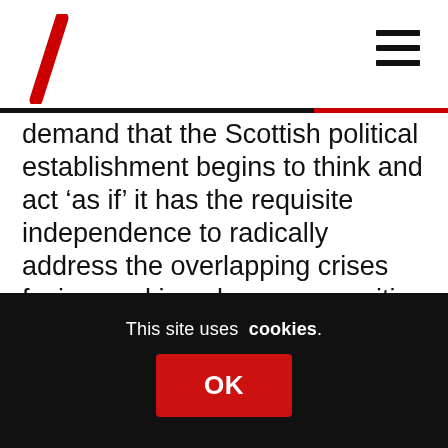[Logo: red diagonal slash mark] [Hamburger menu icon]
demand that the Scottish political establishment begins to think and act ‘as if’ it has the requisite independence to radically address the overlapping crises facing working-class communities in Scotland, from the climate emergency and austerity to drug deaths, housing and the hostile environment.
We refuse to abandon the people of Wales, Northern Ireland and England to Tory rule, even if Scotland chooses to pursue its own
This site uses cookies.
OK